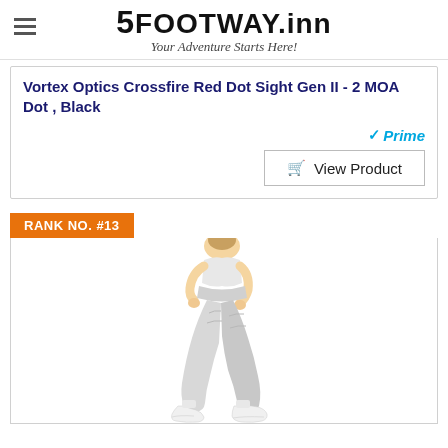5FOOTWAY.inn — Your Adventure Starts Here!
Vortex Optics Crossfire Red Dot Sight Gen II - 2 MOA Dot , Black
[Figure (other): Prime badge with checkmark and 'Prime' text in blue]
View Product
RANK NO. #13
[Figure (photo): Person wearing light gray leggings and white sneakers, posed in a dynamic stance showing off the athletic wear]